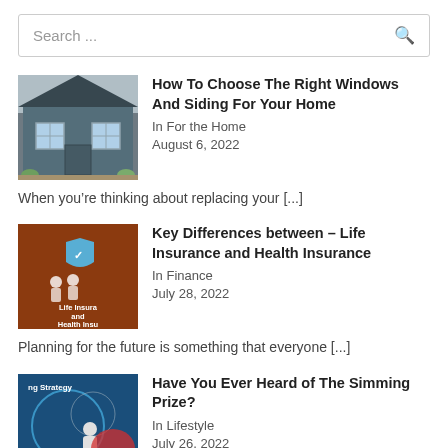Search ...
[Figure (photo): Thumbnail of a house exterior with grey siding and windows]
How To Choose The Right Windows And Siding For Your Home
In For the Home
August 6, 2022
When you’re thinking about replacing your [...]
[Figure (illustration): Brown background graphic with text 'Life Insurance and Health Insurance' and a figure with shield icon]
Key Differences between – Life Insurance and Health Insurance
In Finance
July 28, 2022
Planning for the future is something that everyone [...]
[Figure (illustration): Dark blue background graphic for 'ng Strategy' with a figure and red accent]
Have You Ever Heard of The Simming Prize?
In Lifestyle
July 26, 2022
If you are reading this blog post, it wouldn’t be